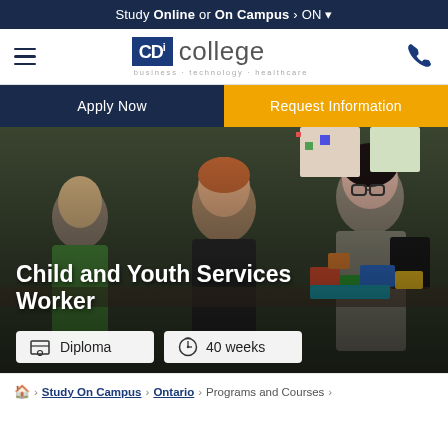Study Online or On Campus › ON ▾
[Figure (logo): CDI College logo with hamburger menu and phone icon]
Apply Now | Request Information
[Figure (photo): A woman educator working with a young boy on a task while another woman with glasses observes, with colorful LEGO blocks nearby. Title overlay: Child and Youth Services Worker. Badges: Diploma, 40 weeks.]
Child and Youth Services Worker
Diploma    40 weeks
🏠 › Study On Campus › Ontario › Programs and Courses ›